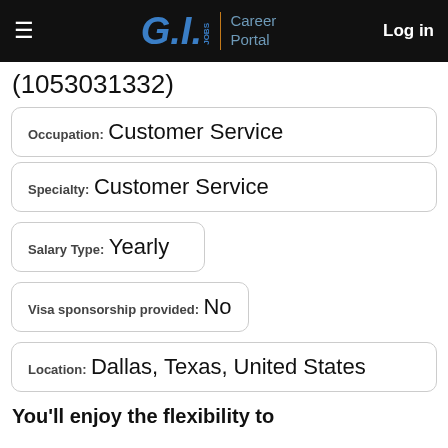G.I.JOBS Career Portal | Log in
(1053031332)
Occupation: Customer Service
Specialty: Customer Service
Salary Type: Yearly
Visa sponsorship provided: No
Location: Dallas, Texas, United States
You'll enjoy the flexibility to